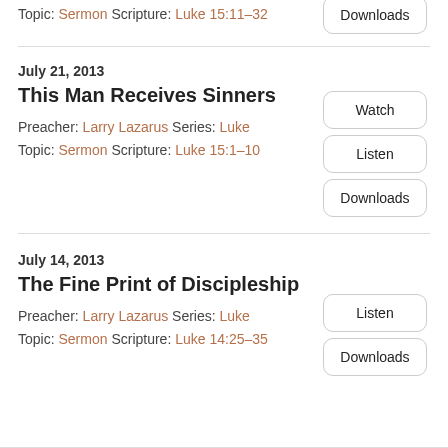Topic: Sermon Scripture: Luke 15:11–32
Downloads
July 21, 2013
This Man Receives Sinners
Preacher: Larry Lazarus Series: Luke
Topic: Sermon Scripture: Luke 15:1–10
Watch
Listen
Downloads
July 14, 2013
The Fine Print of Discipleship
Preacher: Larry Lazarus Series: Luke
Topic: Sermon Scripture: Luke 14:25–35
Listen
Downloads